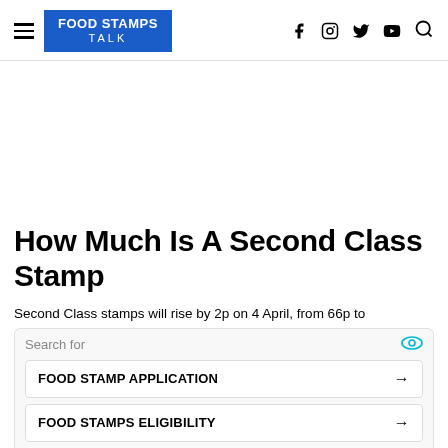FOOD STAMPS TALK
[Figure (other): Large white advertisement placeholder area]
How Much Is A Second Class Stamp
Second Class stamps will rise by 2p on 4 April, from 66p to
[Figure (infographic): Search ad widget with 'Search for' label, eye icon, two ad links: FOOD STAMP APPLICATION and FOOD STAMPS ELIGIBILITY with arrows, and Ad | Business Focus footer]